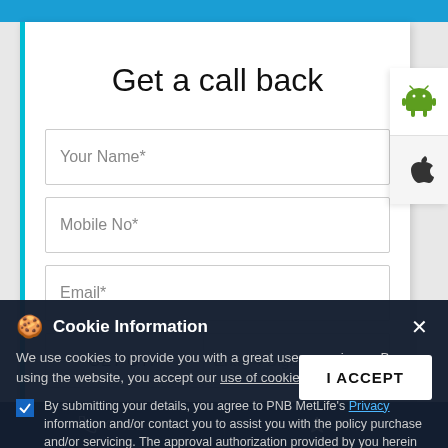Get a call back
Your Name*
Mobile No*
Email*
GET OTP
Enter 4 Digit OTP
[Figure (screenshot): Android robot icon for app download]
[Figure (screenshot): Apple logo icon for app download]
Cookie Information
We use cookies to provide you with a great user experience. By using the website, you accept our use of cookies
By submitting your details, you agree to PNB MetLife's Privacy information and/or contact you to assist you with the policy purchase and/or servicing. The approval authorization provided by you herein will supersede
I ACCEPT
CALL   DIRECTIONS